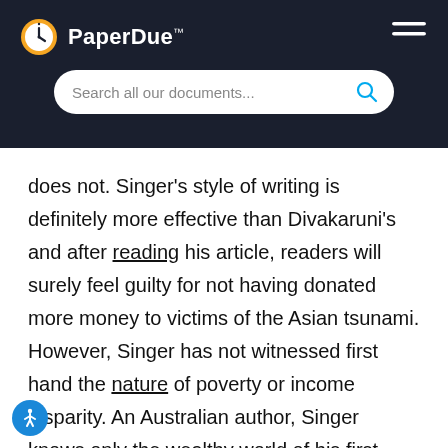PaperDue™
does not. Singer's style of writing is definitely more effective than Divakaruni's and after reading his article, readers will surely feel guilty for not having donated more money to victims of the Asian tsunami. However, Singer has not witnessed first hand the nature of poverty or income disparity. An Australian author, Singer knows only the wealthy world of his first world nation, whereas Divakaruni knows both the first